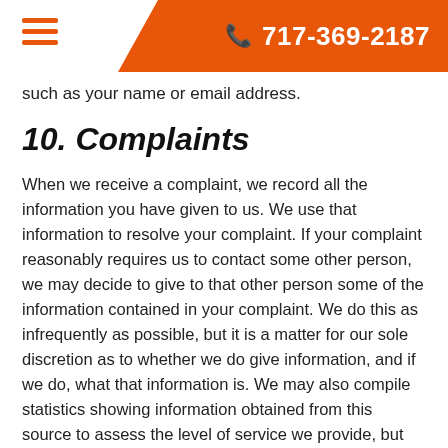717-369-2187
such as your name or email address.
10. Complaints
When we receive a complaint, we record all the information you have given to us. We use that information to resolve your complaint. If your complaint reasonably requires us to contact some other person, we may decide to give to that other person some of the information contained in your complaint. We do this as infrequently as possible, but it is a matter for our sole discretion as to whether we do give information, and if we do, what that information is. We may also compile statistics showing information obtained from this source to assess the level of service we provide, but not in a way that could identify you or any other person.